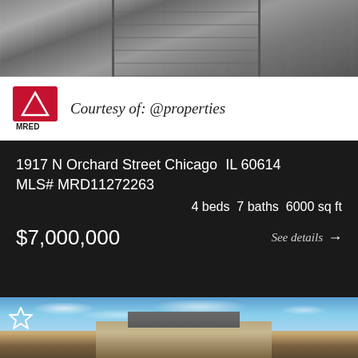[Figure (photo): Top of property photo showing a modern home entry with dark door and glass, partially visible]
Courtesy of: @properties
1917 N Orchard Street Chicago  IL 60614
MLS# MRD11272263
4 beds  7 baths  6000 sq ft
$7,000,000
See details →
[Figure (photo): Exterior photo of a classic ornate building against blue sky with wispy clouds, with a star/favorite icon overlay]